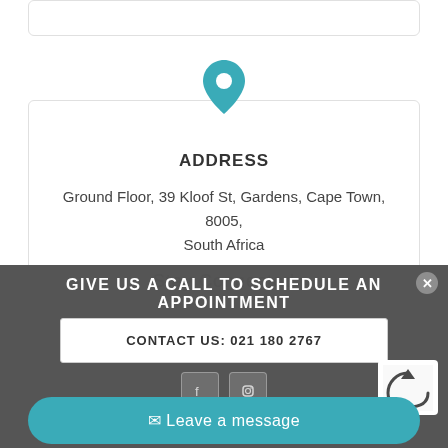[Figure (illustration): Teal map pin / location marker icon centered at top of address card]
ADDRESS
Ground Floor, 39 Kloof St, Gardens, Cape Town, 8005, South Africa
Stay Connected
GIVE US A CALL TO SCHEDULE AN APPOINTMENT
CONTACT US: 021 180 2767
Leave a message